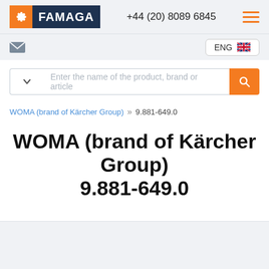FAMAGA +44 (20) 8089 6845
[Figure (logo): FAMAGA logo with orange gear icon and dark navy text background]
+44 (20) 8089 6845
ENG (English UK language selector)
Enter the name of the product, brand or article
WOMA (brand of Kärcher Group) » 9.881-649.0
WOMA (brand of Kärcher Group) 9.881-649.0